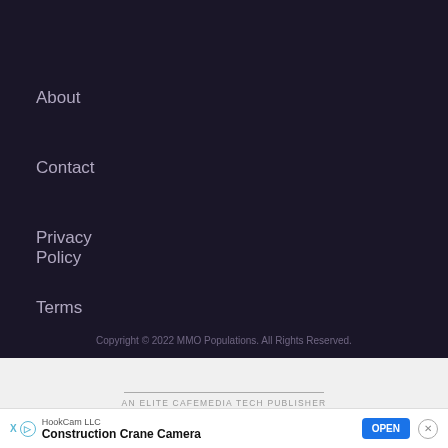About
Contact
Privacy Policy
Terms
RAWG API
Copyright © 2022 MMO Populations. All Rights Reserved.
AN ELITE CAFEMEDIA TECH PUBLISHER
HookCam LLC Construction Crane Camera OPEN